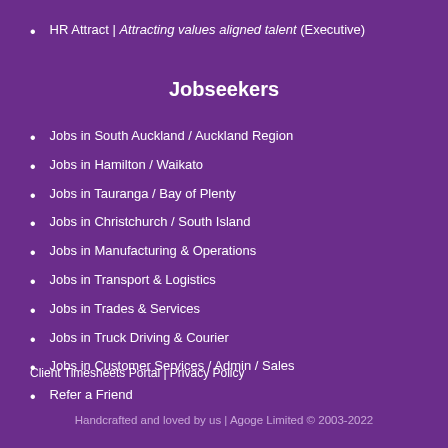HR Attract | Attracting values aligned talent (Executive)
Jobseekers
Jobs in South Auckland / Auckland Region
Jobs in Hamilton / Waikato
Jobs in Tauranga / Bay of Plenty
Jobs in Christchurch / South Island
Jobs in Manufacturing & Operations
Jobs in Transport & Logistics
Jobs in Trades & Services
Jobs in Truck Driving & Courier
Jobs in Customer Services / Admin / Sales
Refer a Friend
Client Timesheets Portal | Privacy Policy
Handcrafted and loved by us | Agoge Limited © 2003-2022